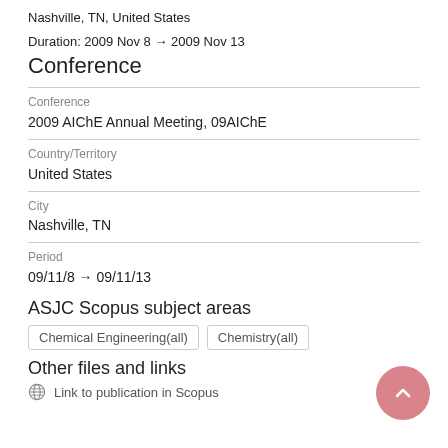Nashville, TN, United States
Duration: 2009 Nov 8 → 2009 Nov 13
Conference
Conference
2009 AIChE Annual Meeting, 09AIChE
Country/Territory
United States
City
Nashville, TN
Period
09/11/8 → 09/11/13
ASJC Scopus subject areas
Chemical Engineering(all)   Chemistry(all)
Other files and links
Link to publication in Scopus